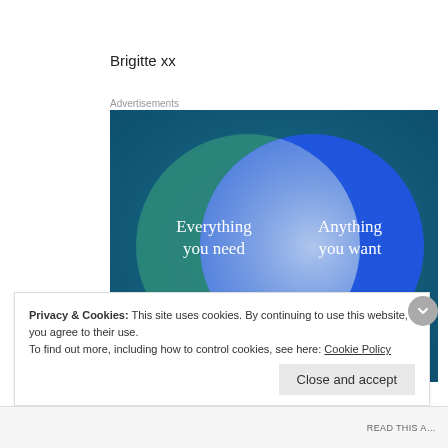Brigitte xx
Advertisements
[Figure (infographic): Venn diagram on blue/teal gradient background with two overlapping circles. Left circle (teal/green) labeled 'Everything you need'. Right circle (blue) labeled 'Anything you want'. Overlapping center region is lighter blue.]
Privacy & Cookies: This site uses cookies. By continuing to use this website, you agree to their use.
To find out more, including how to control cookies, see here: Cookie Policy
Close and accept